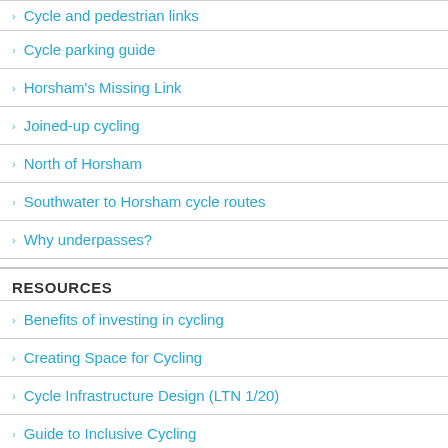Cycle and pedestrian links
Cycle parking guide
Horsham's Missing Link
Joined-up cycling
North of Horsham
Southwater to Horsham cycle routes
Why underpasses?
RESOURCES
Benefits of investing in cycling
Creating Space for Cycling
Cycle Infrastructure Design (LTN 1/20)
Guide to Inclusive Cycling
Horsham Cycling Review (2009)